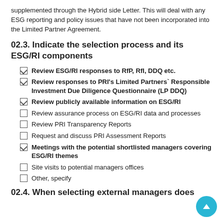supplemented through the Hybrid side Letter. This will deal with any ESG reporting and policy issues that have not been incorporated into the Limited Partner Agreement.
02.3. Indicate the selection process and its ESG/RI components
Review ESG/RI responses to RfP, RfI, DDQ etc.
Review responses to PRI's Limited Partners' Responsible Investment Due Diligence Questionnaire (LP DDQ)
Review publicly available information on ESG/RI
Review assurance process on ESG/RI data and processes
Review PRI Transparency Reports
Request and discuss PRI Assessment Reports
Meetings with the potential shortlisted managers covering ESG/RI themes
Site visits to potential managers offices
Other, specify
02.4. When selecting external managers does